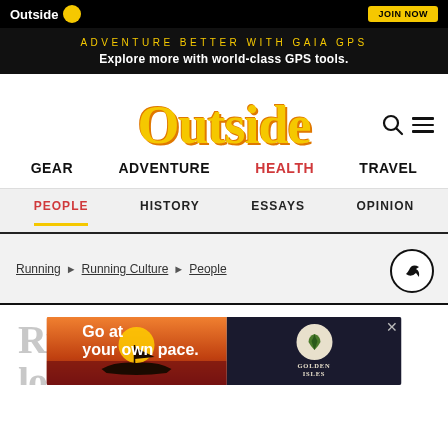Outside | Top navigation bar
[Figure (infographic): Black ad banner: ADVENTURE BETTER WITH GAIA GPS / Explore more with world-class GPS tools.]
Outside
GEAR   ADVENTURE   HEALTH   TRAVEL
PEOPLE   HISTORY   ESSAYS   OPINION
Running > Running Culture > People
Ru... (article title partially visible)
[Figure (infographic): Golden Isles advertisement overlay: 'Go at your own pace.' with boat silhouette at sunset and Golden Isles logo]